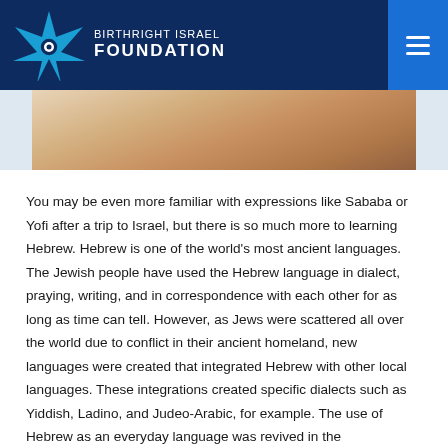BIRTHRIGHT ISRAEL FOUNDATION
[Figure (photo): Partial view of a photo showing a person's hands, cropped at top of content area]
You may be even more familiar with expressions like Sababa or Yofi after a trip to Israel, but there is so much more to learning Hebrew. Hebrew is one of the world's most ancient languages. The Jewish people have used the Hebrew language in dialect, praying, writing, and in correspondence with each other for as long as time can tell. However, as Jews were scattered all over the world due to conflict in their ancient homeland, new languages were created that integrated Hebrew with other local languages. These integrations created specific dialects such as Yiddish, Ladino, and Judeo-Arabic, for example. The use of Hebrew as an everyday language was revived in the